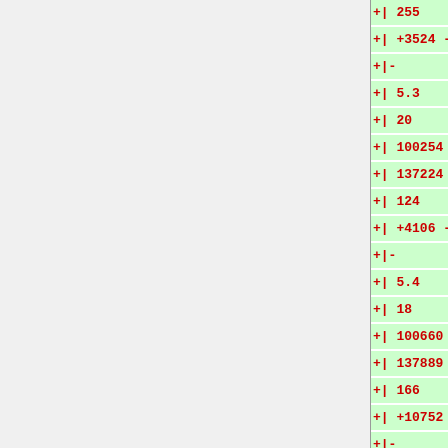+ | 255
+ | +3524 -2311
+ |-
+ | 5.3
+ | 20
+ | 100254
+ | 137224
+ | 124
+ | +4106 -3400
+ |-
+ | 5.4
+ | 18
+ | 100660
+ | 137889
+ | 166
+ | +10752 -10087
+ |-
+ | 5.5
+ | 17
+ | 100629